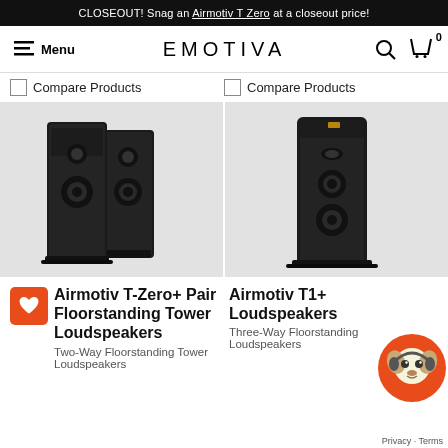CLOSEOUT! Snag an Airmotiv T Zero at a closeout price!
EMOTIVA — Menu, Search, Cart (0)
Compare Products
Compare Products
[Figure (photo): Black Airmotiv T-Zero+ floorstanding tower speaker pair, shown at angle against light grey background]
[Figure (photo): Black Airmotiv T1+ three-way floorstanding tower loudspeaker, shown at angle against light grey background]
Airmotiv T-Zero+ Pair Floorstanding Tower Loudspeakers
Two-Way Floorstanding Tower Loudspeakers
Airmotiv T1+ Loudspeakers
Three-Way Floorstanding Loudspeakers